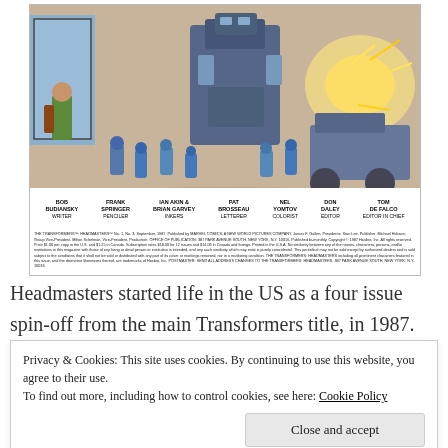[Figure (illustration): Comic book panel from The Transformers: Headmasters No. 1, September 1987, showing large robots and small figures in an action scene, with credits bar at bottom listing Bob Budiansky (Writer), Frank Springer (Penciler), Ian Akin & Brian Garvey (Inkers), Pat Brosseau (Letterer), Nel Yomtov (Colorist), Don Daley (Editor), Tom DeFalco (Editor in Chief), and small print Marvel Comics copyright notice.]
Headmasters started life in the US as a four issue spin-off from the main Transformers title, in 1987. Its job was to introduce fans to a new cast of Autobots and
Privacy & Cookies: This site uses cookies. By continuing to use this website, you agree to their use.
To find out more, including how to control cookies, see here: Cookie Policy
Close and accept
with the power to outshine the main story...